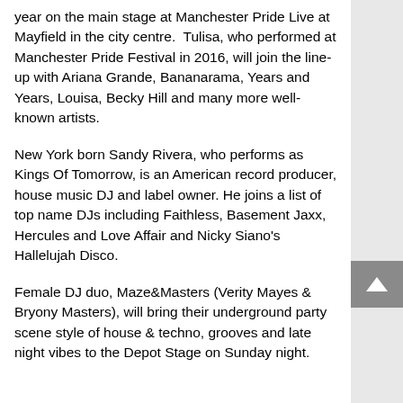year on the main stage at Manchester Pride Live at Mayfield in the city centre.  Tulisa, who performed at Manchester Pride Festival in 2016, will join the line-up with Ariana Grande, Bananarama, Years and Years, Louisa, Becky Hill and many more well-known artists.
New York born Sandy Rivera, who performs as Kings Of Tomorrow, is an American record producer, house music DJ and label owner. He joins a list of top name DJs including Faithless, Basement Jaxx, Hercules and Love Affair and Nicky Siano's Hallelujah Disco.
Female DJ duo, Maze&Masters (Verity Mayes & Bryony Masters), will bring their underground party scene style of house & techno, grooves and late night vibes to the Depot Stage on Sunday night.